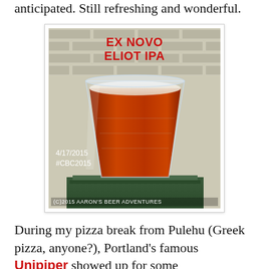anticipated. Still refreshing and wonderful.
[Figure (photo): A plastic cup of amber IPA beer labeled 'EX NOVO ELIOT IPA', photographed against a white brick wall background. Date stamp 4/17/2015 #CBC2015. Copyright (C)2015 AARON'S BEER ADVENTURES.]
During my pizza break from Pulehu (Greek pizza, anyone?), Portland's famous Unipiper showed up for some entertainment. He also went inside to get his CBC food/beer finds for a tasting off...